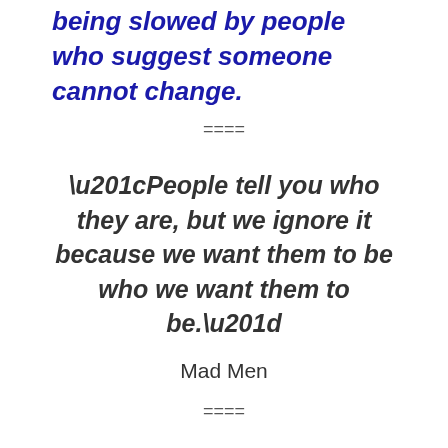being slowed by people who suggest someone cannot change.
====
“People tell you who they are, but we ignore it because we want them to be who we want them to be.”
Mad Men
====
Well. Surely … doing good today doesn’t absolve you from something you did bad